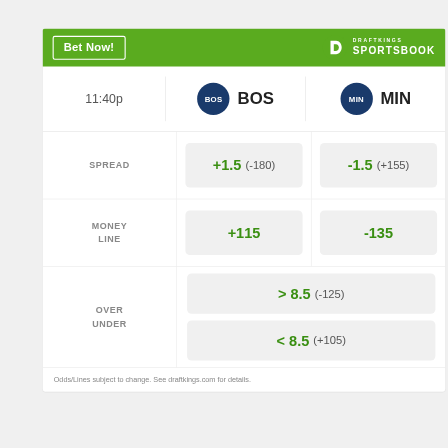[Figure (infographic): DraftKings Sportsbook betting odds widget for BOS vs MIN. Shows Bet Now button and DraftKings logo in green header. Game time 11:40p. Spread: BOS +1.5 (-180), MIN -1.5 (+155). Money Line: BOS +115, MIN -135. Over/Under: >8.5 (-125), <8.5 (+105).]
Odds/Lines subject to change. See draftkings.com for details.